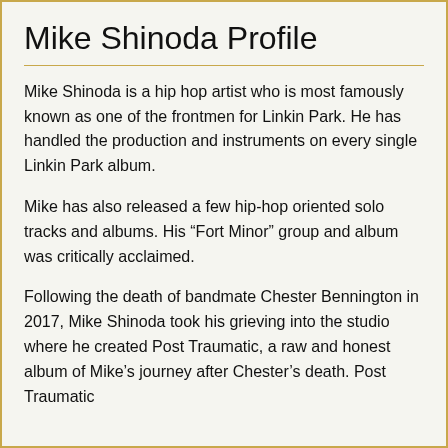Mike Shinoda Profile
Mike Shinoda is a hip hop artist who is most famously known as one of the frontmen for Linkin Park. He has handled the production and instruments on every single Linkin Park album.
Mike has also released a few hip-hop oriented solo tracks and albums. His “Fort Minor” group and album was critically acclaimed.
Following the death of bandmate Chester Bennington in 2017, Mike Shinoda took his grieving into the studio where he created Post Traumatic, a raw and honest album of Mike’s journey after Chester’s death. Post Traumatic contained the single “Coming through”…